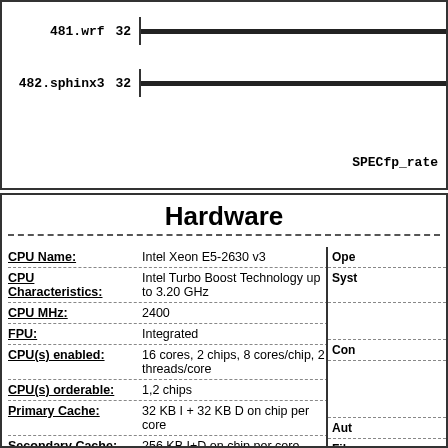[Figure (bar-chart): SPECfp_rate chart (partial)]
Hardware
| Field | Value |
| --- | --- |
| CPU Name: | Intel Xeon E5-2630 v3 |
| CPU Characteristics: | Intel Turbo Boost Technology up to 3.20 GHz |
| CPU MHz: | 2400 |
| FPU: | Integrated |
| CPU(s) enabled: | 16 cores, 2 chips, 8 cores/chip, 2 threads/core |
| CPU(s) orderable: | 1,2 chips |
| Primary Cache: | 32 KB I + 32 KB D on chip per core |
| Secondary Cache: | 256 KB I+D on chip per core |
| L3 Cache: | 20 MB I+D on chip per chip |
| Other Cache: | None |
| Memory: | 128 GB (8 x 16 GB 2Rx4 PC4-2133P |